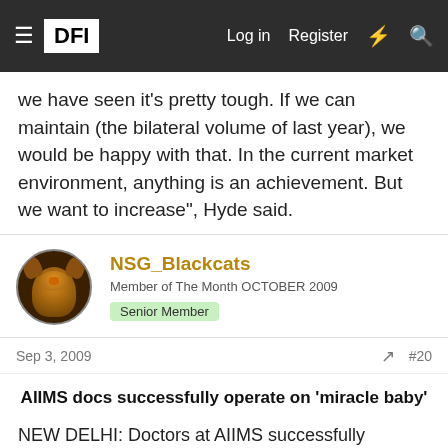≡ DFI   Log in   Register   ⚡   🔍
we have seen it's pretty tough. If we can maintain (the bilateral volume of last year), we would be happy with that. In the current market environment, anything is an achievement. But we want to increase", Hyde said.
NSG_Blackcats
Member of The Month OCTOBER 2009   Senior Member
Sep 3, 2009   #20
AIIMS docs successfully operate on 'miracle baby'
NEW DELHI: Doctors at AIIMS successfully operated on the 10-day-old miracle baby, who was born with his heart protruding through his chest, on Thursday. In this path-breaking surgery, the doctors have created a new world record by doing the surgery without suspending his body functions. "We decided to do the surgery without suspending his body functions. As there